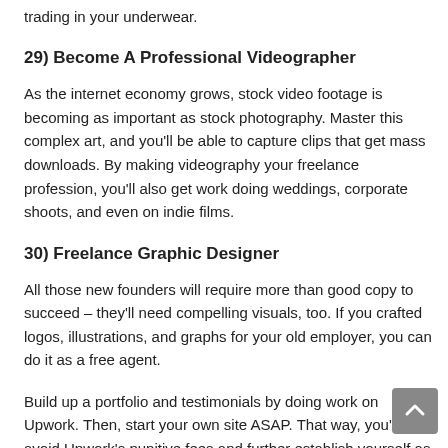trading in your underwear.
29) Become A Professional Videographer
As the internet economy grows, stock video footage is becoming as important as stock photography. Master this complex art, and you'll be able to capture clips that get mass downloads. By making videography your freelance profession, you'll also get work doing weddings, corporate shoots, and even on indie films.
30) Freelance Graphic Designer
All those new founders will require more than good copy to succeed – they'll need compelling visuals, too. If you crafted logos, illustrations, and graphs for your old employer, you can do it as a free agent.
Build up a portfolio and testimonials by doing work on Upwork. Then, start your own site ASAP. That way, you'll avoid Upwork's punitive fees and further establish yourself as a professional.